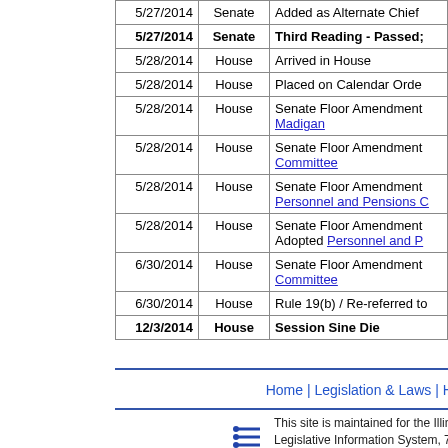| Date | Chamber | Action |
| --- | --- | --- |
| 5/27/2014 | Senate | Added as Alternate Chief… |
| 5/27/2014 | Senate | Third Reading - Passed; |
| 5/28/2014 | House | Arrived in House |
| 5/28/2014 | House | Placed on Calendar Orde… |
| 5/28/2014 | House | Senate Floor Amendment… Madigan |
| 5/28/2014 | House | Senate Floor Amendment… Committee |
| 5/28/2014 | House | Senate Floor Amendment… Personnel and Pensions C… |
| 5/28/2014 | House | Senate Floor Amendment… Adopted Personnel and P… |
| 6/30/2014 | House | Senate Floor Amendment… Committee |
| 6/30/2014 | House | Rule 19(b) / Re-referred to… |
| 12/3/2014 | House | Session Sine Die |
Back To…
Home | Legislation & Laws | House | Sena…
This site is maintained for the Illinois Gener… Legislative Information System, 705 Stratto…